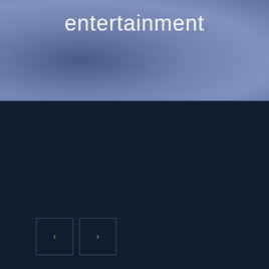entertainment
[Figure (other): Navigation arrow buttons: left chevron and right chevron in square bordered boxes]
♡ 0
Delta reaches its 600th aircraft with seat-back entertainment
| 0 | 0 | 0 |